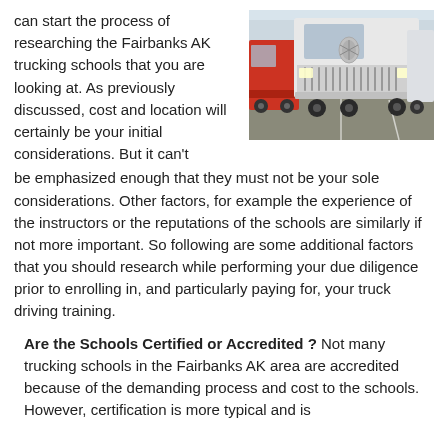can start the process of researching the Fairbanks AK trucking schools that you are looking at. As previously discussed, cost and location will certainly be your initial considerations. But it can't be emphasized enough that they must not be your sole considerations. Other factors, for example the experience of the instructors or the reputations of the schools are similarly if not more important. So following are some additional factors that you should research while performing your due diligence prior to enrolling in, and particularly paying for, your truck driving training.
[Figure (photo): Photo of large white semi-trucks parked in a lot, viewed from the front.]
Are the Schools Certified or Accredited ? Not many trucking schools in the Fairbanks AK area are accredited because of the demanding process and cost to the schools. However, certification is more typical and is